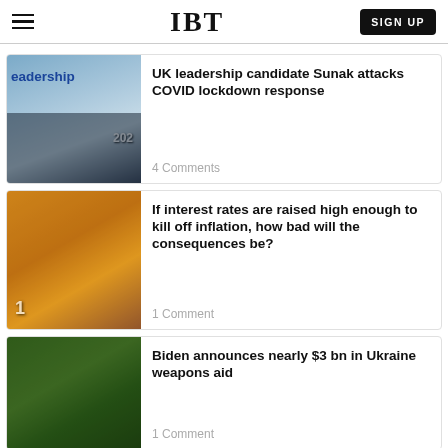IBT
[Figure (photo): Rishi Sunak speaking at a leadership event with audience members in foreground, background text reads 'leadership 202']
UK leadership candidate Sunak attacks COVID lockdown response
4 Comments
[Figure (photo): Hands exchanging money over a tray with price tags, grocery/market scene]
If interest rates are raised high enough to kill off inflation, how bad will the consequences be?
1 Comment
[Figure (photo): Soldier in camouflage holding a camera or weapon in a wooded area]
Biden announces nearly $3 bn in Ukraine weapons aid
1 Comment